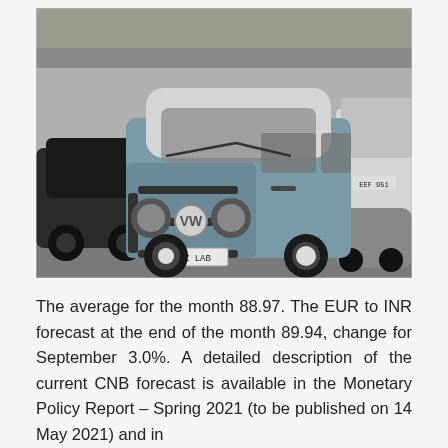[Figure (photo): Black and white photograph of a vintage Volkswagen Type 2 (T2) van/bus in a parking lot, with license plate reading 'OOZ LAB'. Other cars are visible on both sides.]
The average for the month 88.97. The EUR to INR forecast at the end of the month 89.94, change for September 3.0%. A detailed description of the current CNB forecast is available in the Monetary Policy Report – Spring 2021 (to be published on 14 May 2021) and in